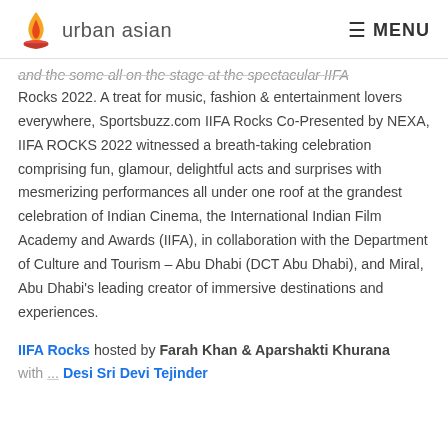urban asian   MENU
and the some all on the stage at the spectacular IIFA Rocks 2022. A treat for music, fashion & entertainment lovers everywhere, Sportsbuzz.com IIFA Rocks Co-Presented by NEXA, IIFA ROCKS 2022 witnessed a breath-taking celebration comprising fun, glamour, delightful acts and surprises with mesmerizing performances all under one roof at the grandest celebration of Indian Cinema, the International Indian Film Academy and Awards (IIFA), in collaboration with the Department of Culture and Tourism – Abu Dhabi (DCT Abu Dhabi), and Miral, Abu Dhabi's leading creator of immersive destinations and experiences.
IIFA Rocks hosted by Farah Khan & Aparshakti Khurana with...